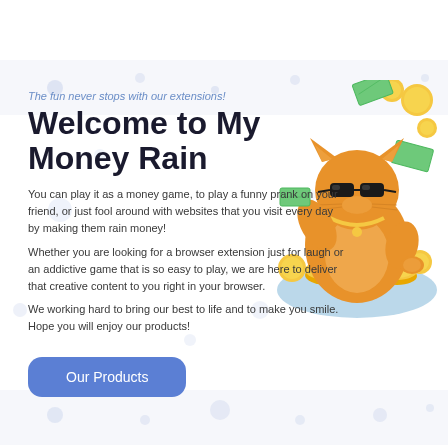The fun never stops with our extensions!
Welcome to My Money Rain
You can play it as a money game, to play a funny prank on your friend, or just fool around with websites that you visit every day by making them rain money!
Whether you are looking for a browser extension just for laugh or an addictive game that is so easy to play, we are here to deliver that creative content to you right in your browser.
We working hard to bring our best to life and to make you smile. Hope you will enjoy our products!
Our Products
[Figure (illustration): Cartoon illustration of a chubby orange cat wearing sunglasses and a gold chain, sitting on a pile of gold coins, surrounded by falling dollar bills and gold coins.]